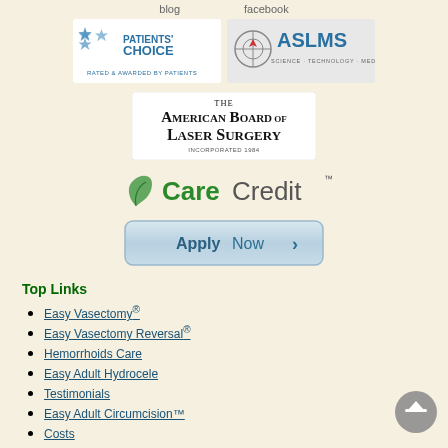blog   facebook
[Figure (logo): Patients' Choice - Rated & Awarded by Patients logo]
[Figure (logo): ASLMS - Science Technology Medicine logo]
[Figure (logo): The American Board of Laser Surgery Incorporated 1984 logo]
[Figure (logo): CareCredit logo with green leaf and text]
[Figure (illustration): Apply Now button with arrow]
Top Links
Easy Vasectomy®
Easy Vasectomy Reversal®
Hemorrhoids Care
Easy Adult Hydrocele
Testimonials
Easy Adult Circumcision™
Costs